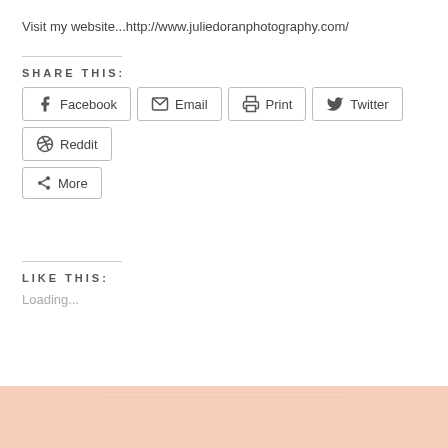Visit my website...http://www.juliedoranphotography.com/
SHARE THIS:
Facebook
Email
Print
Twitter
Reddit
More
LIKE THIS:
Loading...
[Figure (photo): Peach/salmon colored textured background bar at bottom of page]